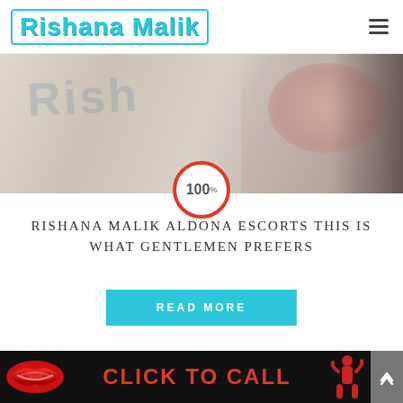Rishana Malik
[Figure (photo): Hero image of a woman lying on a white bed/pillow, with 'Rish...' text overlay in gray. A circular badge showing '100%' with red border is overlaid at the bottom center.]
RISHANA MALIK ALDONA ESCORTS THIS IS WHAT GENTLEMEN PREFERS
READ MORE
CLICK TO CALL